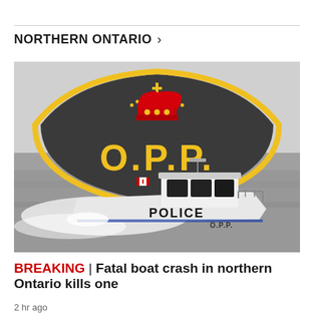NORTHERN ONTARIO >
[Figure (photo): OPP police boat on water with OPP badge logo overlay. White police boat labeled POLICE and O.P.P. speeding across grey water, with large dark OPP shield badge with yellow crown and gold O.P.P. lettering overlaid in background.]
BREAKING | Fatal boat crash in northern Ontario kills one
2 hr ago